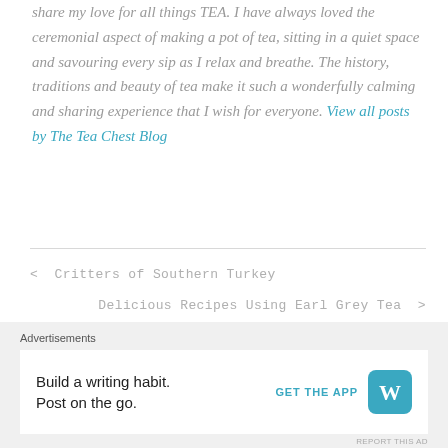share my love for all things TEA. I have always loved the ceremonial aspect of making a pot of tea, sitting in a quiet space and savouring every sip as I relax and breathe. The history, traditions and beauty of tea make it such a wonderfully calming and sharing experience that I wish for everyone. View all posts by The Tea Chest Blog
< Critters of Southern Turkey
Delicious Recipes Using Earl Grey Tea >
[Figure (other): Close button (X in circle) overlay icon]
Advertisements
[Figure (other): Advertisement banner: Build a writing habit. Post on the go. GET THE APP with WordPress logo]